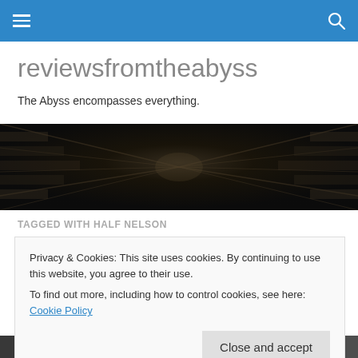reviewsfromtheabyss — navigation bar
reviewsfromtheabyss
The Abyss encompasses everything.
[Figure (photo): Wide panoramic banner image showing a dark, dramatic corridor or abyss with brick/stone walls converging to a vanishing point, sepia/dark tones with motion blur effect]
TAGGED WITH HALF NELSON
Privacy & Cookies: This site uses cookies. By continuing to use this website, you agree to their use.
To find out more, including how to control cookies, see here: Cookie Policy
[Figure (photo): Partial bottom image showing people, partially obscured by cookie notice]